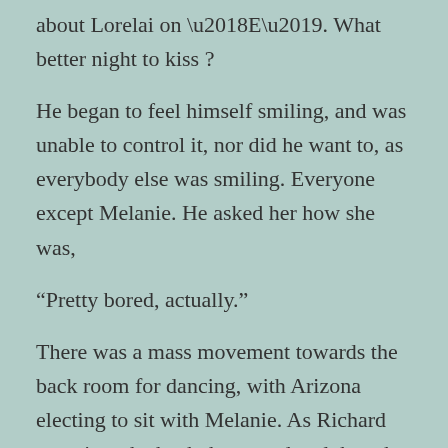about Lorelai on ‘E’. What better night to kiss ?
He began to feel himself smiling, and was unable to control it, nor did he want to, as everybody else was smiling. Everyone except Melanie. He asked her how she was,
“Pretty bored, actually.”
There was a mass movement towards the back room for dancing, with Arizona electing to sit with Melanie. As Richard went into the back, he turned and thought he saw her offer Al a small notebook to read.